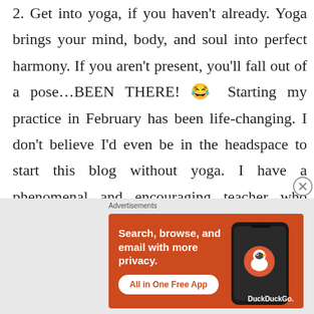2. Get into yoga, if you haven't already. Yoga brings your mind, body, and soul into perfect harmony. If you aren't present, you'll fall out of a pose…BEEN THERE! 😂 Starting my practice in February has been life-changing. I don't believe I'd even be in the headspace to start this blog without yoga. I have a phenomenal and encouraging teacher who continues to push me to do things I never
[Figure (other): DuckDuckGo advertisement banner with orange background. Text: 'Search, browse, and email with more privacy. All in One Free App' with DuckDuckGo logo and phone image.]